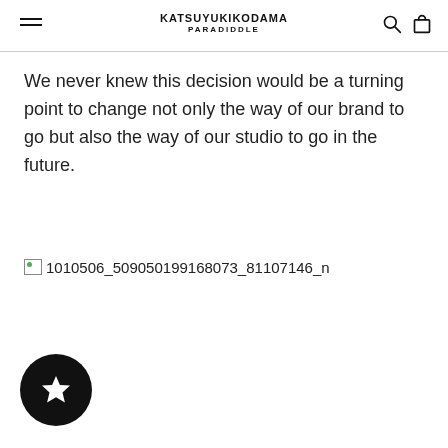KATSUYUKIKODAMA PARADIDDLE
We never knew this decision would be a turning point to change not only the way of our brand to go but also the way of our studio to go in the future.
[Figure (photo): Broken image placeholder with filename: 1010506_509050199168073_81107146_n]
[Figure (other): Black circular button with white star icon]